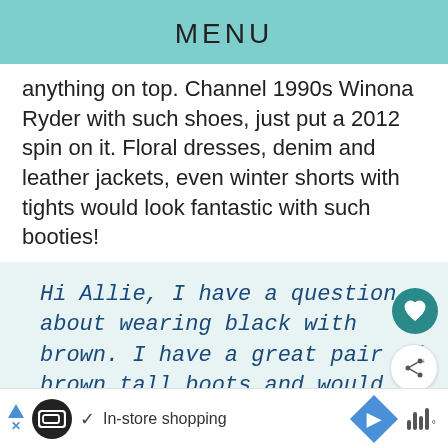MENU
anything on top. Channel 1990s Winona Ryder with such shoes, just put a 2012 spin on it. Floral dresses, denim and leather jackets, even winter shorts with tights would look fantastic with such booties!
Hi Allie, I have a question about wearing black with brown. I have a great pair of brown tall boots and would like to
[Figure (other): Advertisement bar with shopping icons, in-store shopping text, navigation diamond, and audio wave icon]